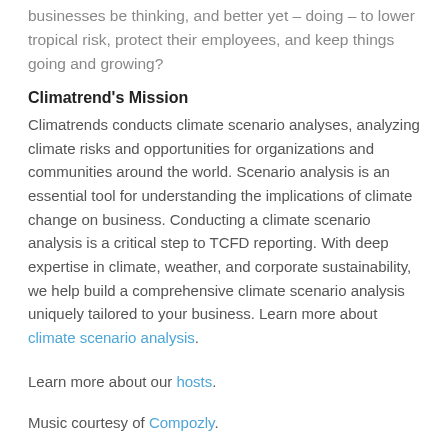businesses be thinking, and better yet – doing – to lower tropical risk, protect their employees, and keep things going and growing?
Climatrend's Mission
Climatrends conducts climate scenario analyses, analyzing climate risks and opportunities for organizations and communities around the world. Scenario analysis is an essential tool for understanding the implications of climate change on business. Conducting a climate scenario analysis is a critical step to TCFD reporting. With deep expertise in climate, weather, and corporate sustainability, we help build a comprehensive climate scenario analysis uniquely tailored to your business. Learn more about climate scenario analysis.
Learn more about our hosts.
Music courtesy of Compozly.